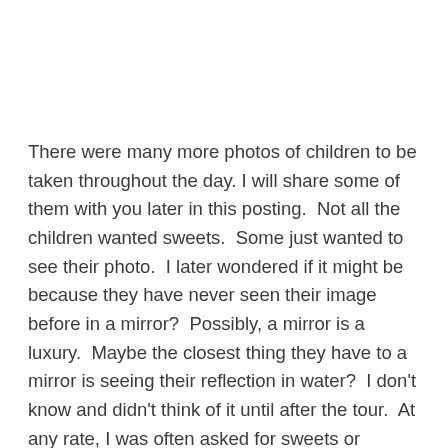There were many more photos of children to be taken throughout the day. I will share some of them with you later in this posting.  Not all the children wanted sweets.  Some just wanted to see their photo.  I later wondered if it might be because they have never seen their image before in a mirror?  Possibly, a mirror is a luxury.  Maybe the closest thing they have to a mirror is seeing their reflection in water?  I don't know and didn't think of it until after the tour.  At any rate, I was often asked for sweets or bonbons.....even the littlest guy knew the word bonbon!!!